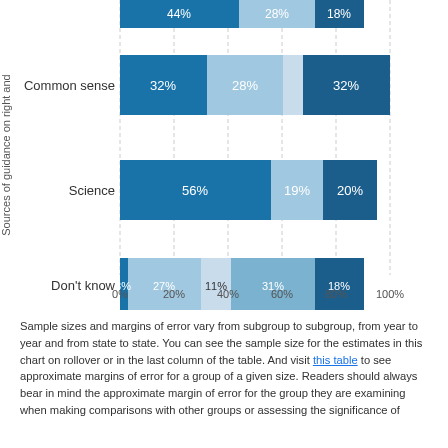[Figure (stacked-bar-chart): Sources of guidance on right and wrong]
Sample sizes and margins of error vary from subgroup to subgroup, from year to year and from state to state. You can see the sample size for the estimates in this chart on rollover or in the last column of the table. And visit this table to see approximate margins of error for a group of a given size. Readers should always bear in mind the approximate margin of error for the group they are examining when making comparisons with other groups or assessing the significance of